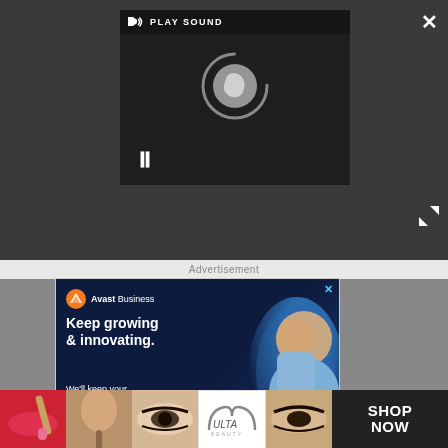[Figure (screenshot): Video player UI with dark background, loading spinner, pause icon, and PLAY SOUND button at top. Close (X) button in top right and expand arrows at bottom right.]
Advertisement
[Figure (screenshot): Avast Business advertisement banner: dark navy background with person smiling. Text reads: Keep growing & innovating. We'll keep your work safe. Avast logo top left. Close X at top right.]
[Figure (screenshot): Bottom banner strip with makeup/beauty images, Ulta Beauty logo, and SHOP NOW button on black background.]